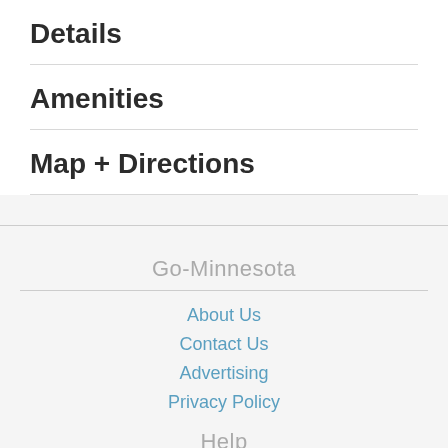Details
Amenities
Map + Directions
Go-Minnesota
About Us
Contact Us
Advertising
Privacy Policy
Help
Site Map